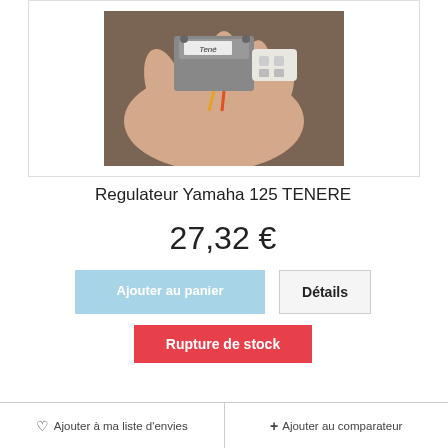[Figure (photo): A hand holding a small electronic voltage regulator component with a white connector plug, with a paper label reading 'Tené'. Dark background.]
Regulateur Yamaha 125 TENERE
27,32 €
Ajouter au panier
Détails
Rupture de stock
♡ Ajouter à ma liste d'envies  + Ajouter au comparateur